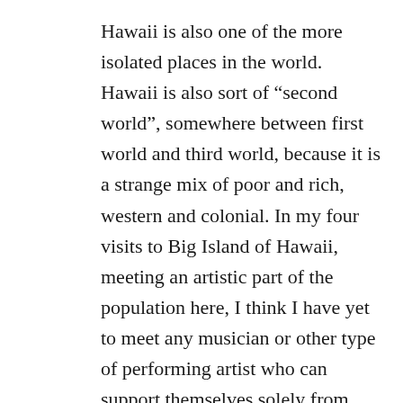Hawaii is also one of the more isolated places in the world. Hawaii is also sort of “second world”, somewhere between first world and third world, because it is a strange mix of poor and rich, western and colonial. In my four visits to Big Island of Hawaii, meeting an artistic part of the population here, I think I have yet to meet any musician or other type of performing artist who can support themselves solely from performing. A few musicians like my friends, have caught the few steady jobs as K-12 music teachers (public and charter schools), others are instrument teachers who try to live from teaching privately out of their own homes, or retired musicians from the mainland. But most musicians have other types of jobs. It is hard and lonely to be a 100 % performing musician in Hawaii, nobody really is, unless you are talking about playing cruise ships or tourist resorts (which I